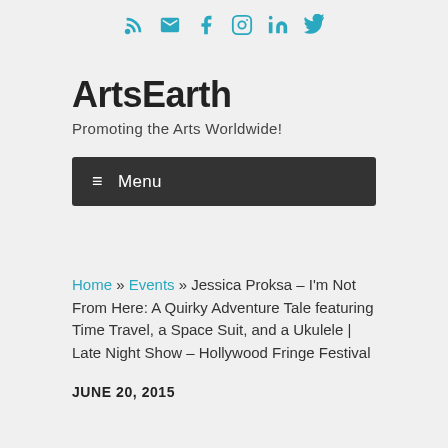RSS Email Facebook Instagram LinkedIn Twitter (social icons)
ArtsEarth
Promoting the Arts Worldwide!
≡ Menu
Home » Events » Jessica Proksa – I'm Not From Here: A Quirky Adventure Tale featuring Time Travel, a Space Suit, and a Ukulele | Late Night Show – Hollywood Fringe Festival
JUNE 20, 2015